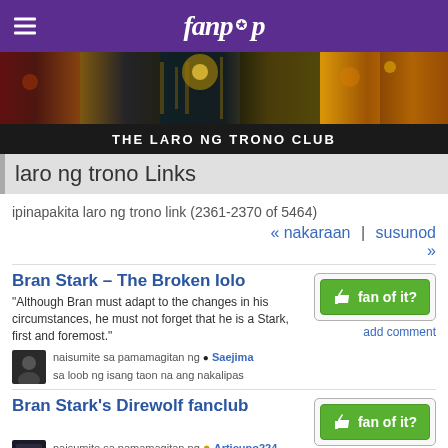fanpop
[Figure (photo): Game of Thrones themed banner strip with dark fantasy imagery including casino-like interiors and golden scenes]
THE LARO NG TRONO CLUB
laro ng trono Links
ipinapakita laro ng trono link (2361-2370 of 5464)
« nakaraan | susunod »
Bran Stark – The Broken Iolo
"Although Bran must adapt to the changes in his circumstances, he must not forget that he is a Stark, first and foremost."
naisumite sa pamamagitan ng ● Saejima
sa loob ng isang taon na ang nakalipas
add comment
Bran Stark's Direwolf fanclub
naisumite sa pamamagitan ng ● Articuno224
sa loob ng isang taon na ang nakalipas
add comment
Bran's Direwolf Died On 'Game Of